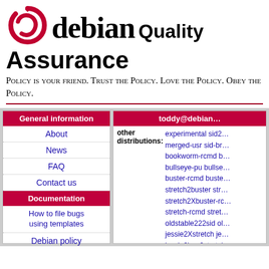[Figure (logo): Debian swirl logo in red]
debian Quality Assurance
Policy is your friend. Trust the Policy. Love the Policy. Obey the Policy.
| General information |
| --- |
| About |
| News |
| FAQ |
| Contact us |
| Documentation |
| --- |
| How to file bugs using templates |
| Debian policy |
| piuparts.d.o configuration: |
| toddy@debian… |
| --- |
| other distributions: | experimental sid2... merged-usr sid-br... bookworm-rcmd b... bullseye-pu bullse... buster-rcmd buste... stretch2buster str... stretch2Xbuster-rc... stretch-rcmd stret... oldstable222sid ol... jessie2Xstretch je... jessie2bpo2stretch... jessie-security wh... wheezy2jessie-rcm... |